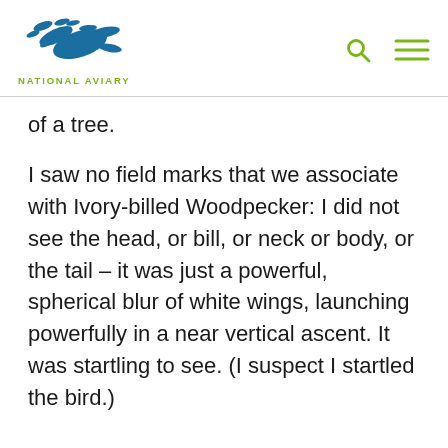[Figure (logo): National Aviary logo with blue bird silhouette and olive green text]
of a tree.
I saw no field marks that we associate with Ivory-billed Woodpecker: I did not see the head, or bill, or neck or body, or the tail – it was just a powerful, spherical blur of white wings, launching powerfully in a near vertical ascent. It was startling to see. (I suspect I startled the bird.)